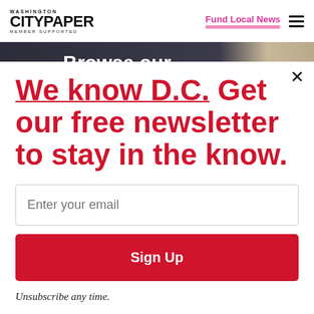WASHINGTON CITYPAPER MEMBER SUPPORTED | Fund Local News
[Figure (screenshot): Background image strip showing 'Browse our' text over a dark background]
We know D.C. Get our free newsletter to stay in the know.
Enter your email
Sign Up
Unsubscribe any time.